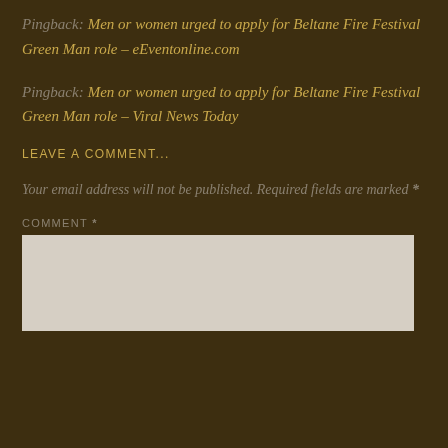Pingback: Men or women urged to apply for Beltane Fire Festival Green Man role – eEventonline.com
Pingback: Men or women urged to apply for Beltane Fire Festival Green Man role – Viral News Today
LEAVE A COMMENT...
Your email address will not be published. Required fields are marked *
COMMENT *